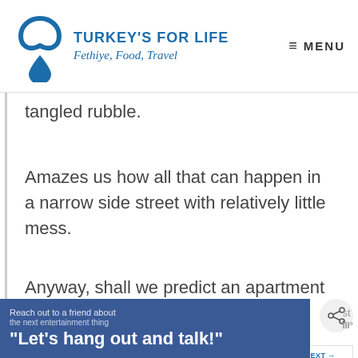TURKEY'S FOR LIFE — Fethiye, Food, Travel — MENU
tangled rubble.
Amazes us how all that can happen in a narrow side street with relatively little mess.
Anyway, shall we predict an apartment block for that site? Of course, there's all sorts of clank crashing and banging going on
[Figure (screenshot): Share button icon (circular grey button with share symbol)]
[Figure (infographic): What's Next panel showing a rice dish image with label 'WHAT'S NEXT' and text 'Our Turkish Rice Recipe']
[Figure (screenshot): Banner advertisement with blue background reading 'Reach out to a friend about' and large text 'Let's hang out and talk!']